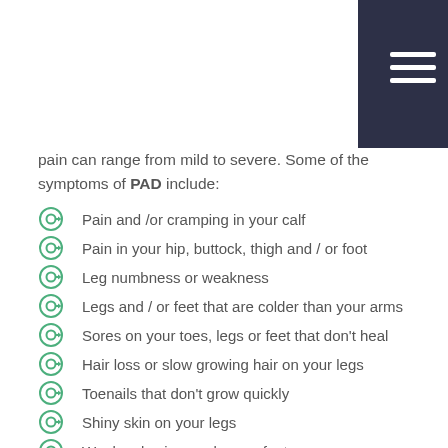pain can range from mild to severe. Some of the symptoms of PAD include:
Pain and /or cramping in your calf
Pain in your hip, buttock, thigh and / or foot
Leg numbness or weakness
Legs and / or feet that are colder than your arms
Sores on your toes, legs or feet that don't heal
Hair loss or slow growing hair on your legs
Toenails that don't grow quickly
Shiny skin on your legs
Weak pulse in your legs or feet
Male erectile dysfunction
Peripheral Artery Disease Diagnosis &